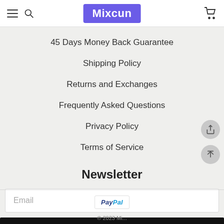Mixcun
45 Days Money Back Guarantee
Shipping Policy
Returns and Exchanges
Frequently Asked Questions
Privacy Policy
Terms of Service
Newsletter
Email
Subscribe
[Figure (logo): PayPal logo]
© 2023 Mi...